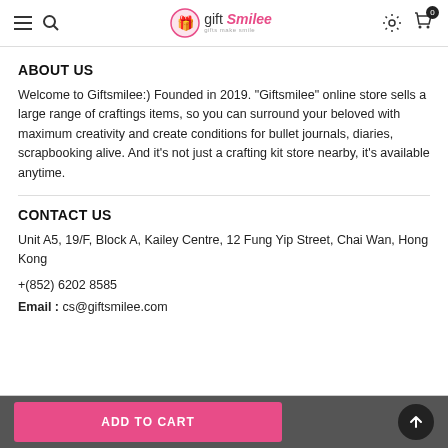gift Smilee — navigation header with hamburger menu, search icon, logo, settings, and cart (0 items)
ABOUT US
Welcome to Giftsmilee:) Founded in 2019. "Giftsmilee" online store sells a large range of craftings items, so you can surround your beloved with maximum creativity and create conditions for bullet journals, diaries, scrapbooking alive. And it's not just a crafting kit store nearby, it's available anytime.
CONTACT US
Unit A5, 19/F, Block A, Kailey Centre, 12 Fung Yip Street, Chai Wan, Hong Kong
+(852) 6202 8585
Email : cs@giftsmilee.com